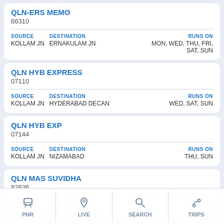QLN-ERS MEMO
66310
| SOURCE | DESTINATION | RUNS ON |
| --- | --- | --- |
| KOLLAM JN | ERNAKULAM JN | MON, WED, THU, FRI, SAT, SUN |
QLN HYB EXPRESS
07110
| SOURCE | DESTINATION | RUNS ON |
| --- | --- | --- |
| KOLLAM JN | HYDERABAD DECAN | WED, SAT, SUN |
QLN HYB EXP
07144
| SOURCE | DESTINATION | RUNS ON |
| --- | --- | --- |
| KOLLAM JN | NIZAMABAD | THU, SUN |
QLN MAS SUVIDHA
82636
PNR | LIVE | SEARCH | TRIPS